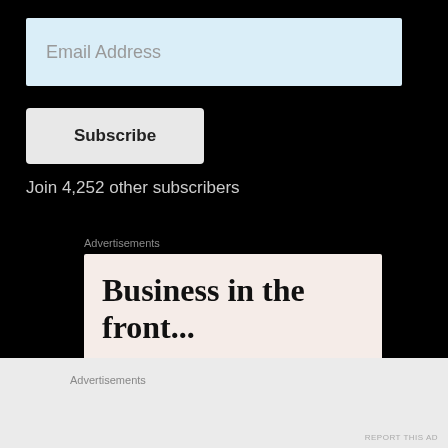Email Address
Subscribe
Join 4,252 other subscribers
Advertisements
[Figure (illustration): Advertisement card with text 'Business in the front...' and WordPress branding on gradient orange/pink bar]
Advertisements